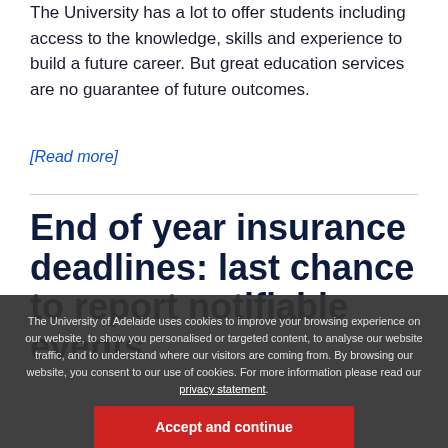The University has a lot to offer students including access to the knowledge, skills and experience to build a future career. But great education services are no guarantee of future outcomes.
[Read more]
End of year insurance deadlines: last chance to report notifiable events
The University of Adelaide uses cookies to improve your browsing experience on our website, to show you personalised or targeted content, to analyse our website traffic, and to understand where our visitors are coming from. By browsing our website, you consent to our use of cookies. For more information please read our privacy statement.
As we approach the end of the year, it's time to review matters within your branches and business units and report any notifiable events or potential